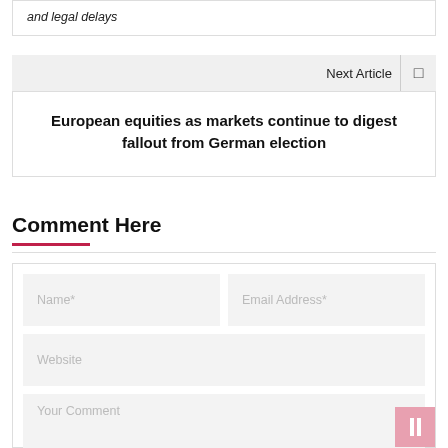and legal delays
Next Article
European equities as markets continue to digest fallout from German election
Comment Here
Name*
Email Address*
Website
Your Comment